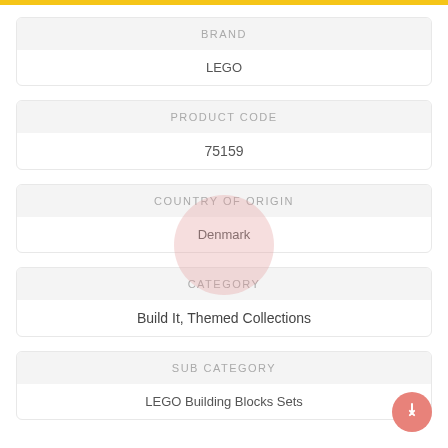| BRAND |
| --- |
| LEGO |
| PRODUCT CODE |
| --- |
| 75159 |
| COUNTRY OF ORIGIN |
| --- |
| Denmark |
| CATEGORY |
| --- |
| Build It, Themed Collections |
| SUB CATEGORY |
| --- |
| LEGO Building Blocks Sets |